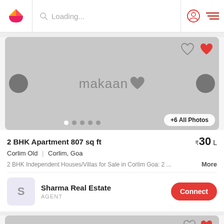Loading...
[Figure (screenshot): Makaan.com property listing image placeholder showing makaan logo with heart on grey background, with navigation arrows, image dots, and +6 All Photos button]
2 BHK Apartment 807 sq ft
₹30 L
Corlim Old | Corlim, Goa
2 BHK Independent Houses/Villas for Sale in Corlim Goa: 2 ... More
Sharma Real Estate
AGENT
[Figure (screenshot): Bottom partial card showing grey image placeholder with heart icons]